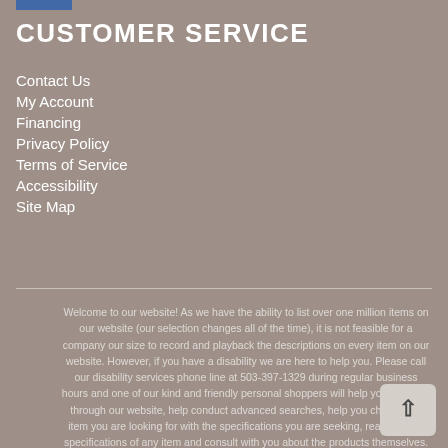CUSTOMER SERVICE
Contact Us
My Account
Financing
Privacy Policy
Terms of Service
Accessibility
Site Map
Welcome to our website! As we have the ability to list over one million items on our website (our selection changes all of the time), it is not feasible for a company our size to record and playback the descriptions on every item on our website. However, if you have a disability we are here to help you. Please call our disability services phone line at 503-397-1329 during regular business hours and one of our kind and friendly personal shoppers will help you navigate through our website, help conduct advanced searches, help you choose the item you are looking for with the specifications you are seeking, read you the specifications of any item and consult with you about the products themselves. There is no charge for the help of this personal shopper for anyone with a disability. Finally, your personal shopper will explain